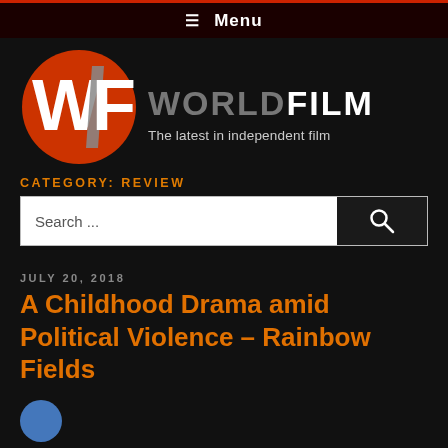≡ Menu
[Figure (logo): World Film logo: orange circle with white 'WF' letters, with a diagonal slash through the F]
WORLDFILM
The latest in independent film
CATEGORY: REVIEW
Search ...
JULY 20, 2018
A Childhood Drama amid Political Violence – Rainbow Fields